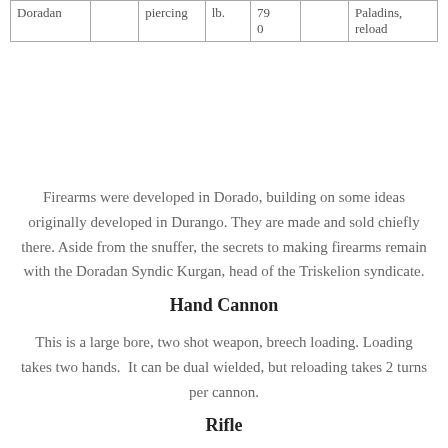| Doradan |  | piercing | lb. | 79
0 |  | Paladins, reload |
Firearms were developed in Dorado, building on some ideas originally developed in Durango. They are made and sold chiefly there. Aside from the snuffer, the secrets to making firearms remain with the Doradan Syndic Kurgan, head of the Triskelion syndicate.
Hand Cannon
This is a large bore, two shot weapon, breech loading. Loading takes two hands. It can be dual wielded, but reloading takes 2 turns per cannon.
Rifle